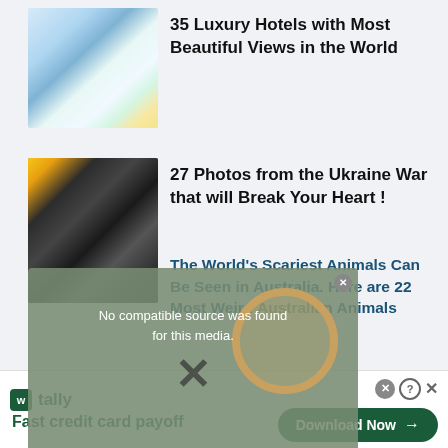[Figure (photo): Luxury hotel with blue pool and palm trees, white architecture]
35 Luxury Hotels with Most Beautiful Views in the World
[Figure (photo): Two people, one wearing a face mask and knit hat, close-up photo]
27 Photos from the Ukraine War that will Break Your Heart !
[Figure (screenshot): Video player error overlay: No compatible source was found for this media, with X button]
[Figure (photo): Australian animals collage with spider and snake images]
The World's Scariest Animals Can Be Seen in Australia. Here are 22 Most Weird Australian Animals
[Figure (logo): Tally app advertisement banner: Fast credit card payoff, Download Now button]